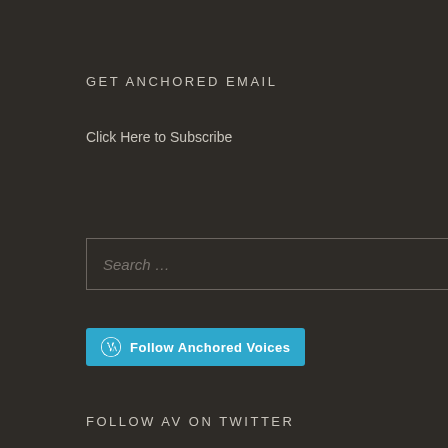GET ANCHORED EMAIL
Click Here to Subscribe
Search ...
[Figure (other): Follow Anchored Voices WordPress follow button with WordPress logo icon]
FOLLOW AV ON TWITTER